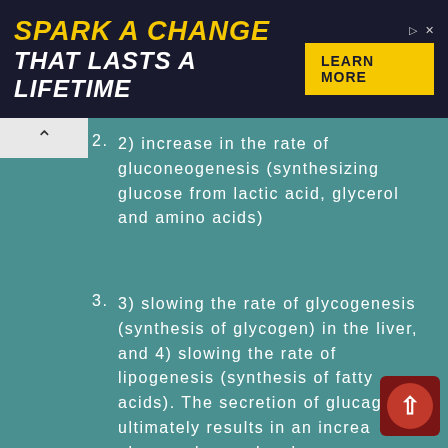[Figure (other): Advertisement banner with dark navy background. Text reads 'SPARK A CHANGE THAT LASTS A LIFETIME' in bold italic yellow and white, with a yellow 'LEARN MORE' button on the right and small ad icons.]
2) increase in the rate of gluconeogenesis (synthesizing glucose from lactic acid, glycerol and amino acids)
3) slowing the rate of glycogenesis (synthesis of glycogen) in the liver, and 4) slowing the rate of lipogenesis (synthesis of fatty acids). The secretion of glucagon ultimately results in an increase of plasma glucose levels.